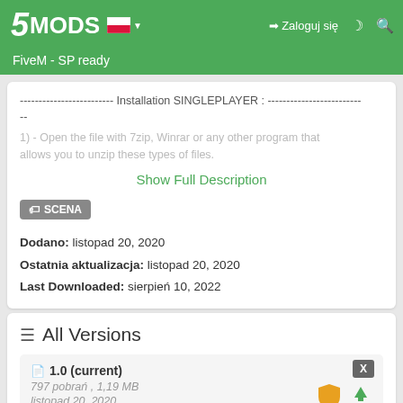5MODS — Zaloguj się
FiveM - SP ready
------------------------- Installation SINGLEPLAYER : ------------------------
--
1) - Open the file with 7zip, Winrar or any other program that allows you to unzip these types of files.
Show Full Description
SCENA
Dodano: listopad 20, 2020
Ostatnia aktualizacja: listopad 20, 2020
Last Downloaded: sierpień 10, 2022
All Versions
1.0 (current)
797 pobrań , 1,19 MB
listopad 20, 2020